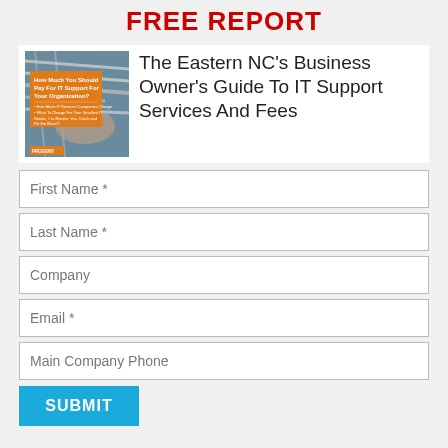FREE REPORT
[Figure (illustration): Book cover image showing network cables being handled, with an orange panel overlay containing text 'How Much You Should Pay For IT Support For Your Organization?' with small print bullet points below and an orange logo at the bottom.]
The Eastern NC's Business Owner's Guide To IT Support Services And Fees
First Name *
Last Name *
Company
Email *
Main Company Phone
SUBMIT